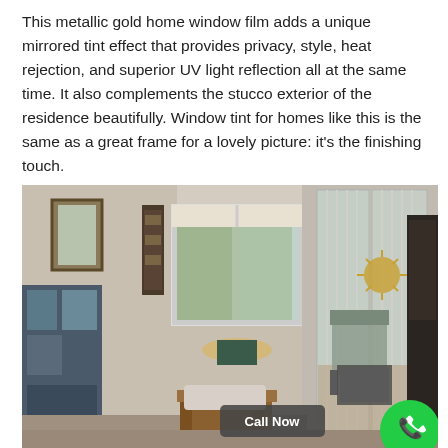This metallic gold home window film adds a unique mirrored tint effect that provides privacy, style, heat rejection, and superior UV light reflection all at the same time. It also complements the stucco exterior of the residence beautifully. Window tint for homes like this is the same as a great frame for a lovely picture: it's the finishing touch.
[Figure (photo): Interior photo of a living room showing windows with applied metallic gold window tint film. The room has a sliding glass door leading to a patio with outdoor furniture visible. A wooden chair with a cushion is in the foreground. A 'Call Now' button overlay and green phone icon button appear in the bottom right corner.]